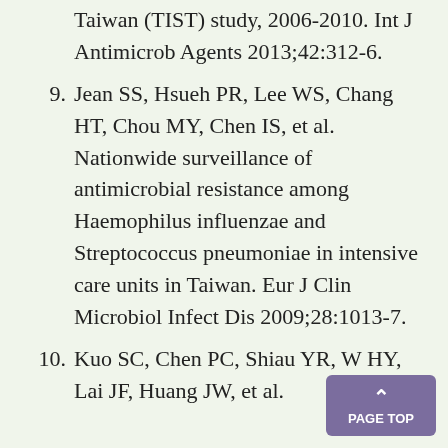Taiwan (TIST) study, 2006-2010. Int J Antimicrob Agents 2013;42:312-6.
9. Jean SS, Hsueh PR, Lee WS, Chang HT, Chou MY, Chen IS, et al. Nationwide surveillance of antimicrobial resistance among Haemophilus influenzae and Streptococcus pneumoniae in intensive care units in Taiwan. Eur J Clin Microbiol Infect Dis 2009;28:1013-7.
10. Kuo SC, Chen PC, Shiau YR, W HY, Lai JF, Huang JW, et al.